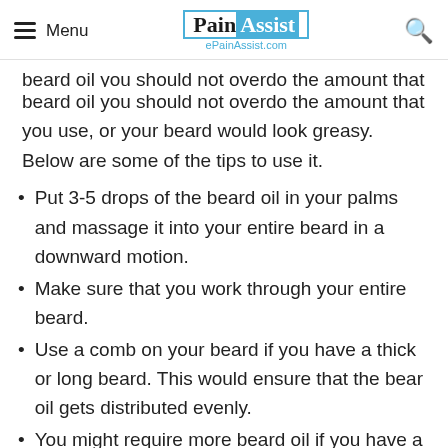Menu | PainAssist ePainAssist.com
beard oil you should not overdo the amount that you use, or your beard would look greasy. Below are some of the tips to use it.
Put 3-5 drops of the beard oil in your palms and massage it into your entire beard in a downward motion.
Make sure that you work through your entire beard.
Use a comb on your beard if you have a thick or long beard. This would ensure that the bear oil gets distributed evenly.
You might require more beard oil if you have a